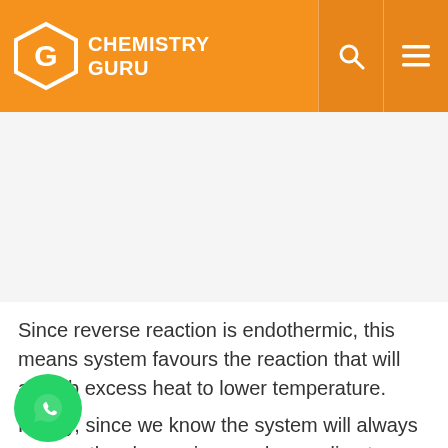CHEMISTRY GURU
[Figure (other): Advertisement space / blank area]
Since reverse reaction is endothermic, this means system favours the reaction that will absorb excess heat to lower temperature.
Finally, since we know the system will always oppose the change imposed according to LCP, the change at time t must be an increase in